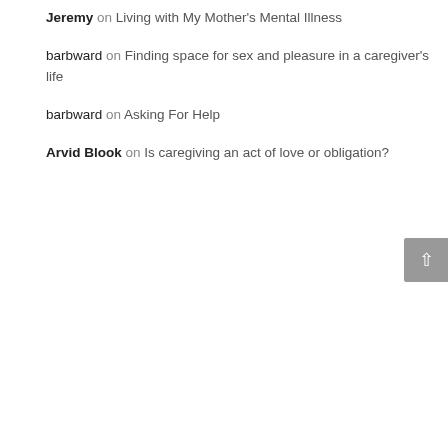Jeremy on Living with My Mother's Mental Illness
barbward on Finding space for sex and pleasure in a caregiver's life
barbward on Asking For Help
Arvid Blook on Is caregiving an act of love or obligation?